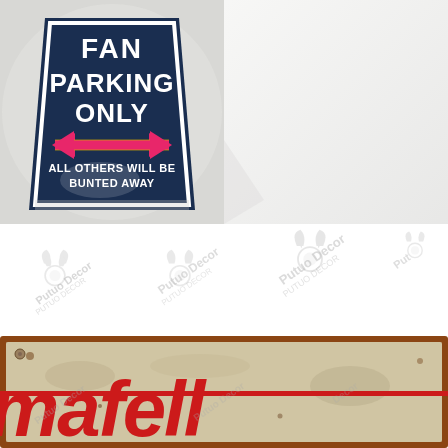[Figure (photo): Novelty parking sign on dark navy background reading 'FAN PARKING ONLY' with a double-headed pink/red arrow and text 'ALL OTHERS WILL BE BUNTED AWAY']
[Figure (photo): White/blank area top right with faint background]
[Figure (photo): White middle area with repeated 'Putuo Decor' watermarks and logo]
[Figure (photo): Bottom portion of a vintage-style rusted tin sign showing partial red cursive/italic text reading 'mafell' or similar brand name on a weathered cream background with rust border]